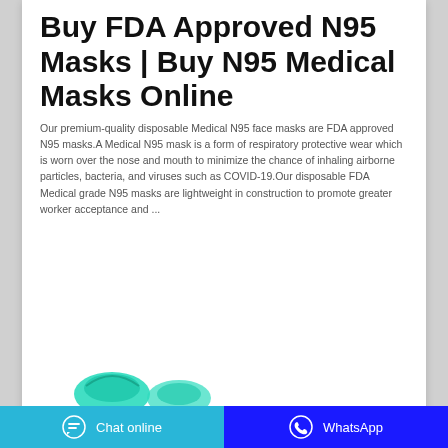Buy FDA Approved N95 Masks | Buy N95 Medical Masks Online
Our premium-quality disposable Medical N95 face masks are FDA approved N95 masks.A Medical N95 mask is a form of respiratory protective wear which is worn over the nose and mouth to minimize the chance of inhaling airborne particles, bacteria, and viruses such as COVID-19.Our disposable FDA Medical grade N95 masks are lightweight in construction to promote greater worker acceptance and ...
[Figure (screenshot): Two call-to-action buttons: 'Ask for price' in teal/blue and 'WhatsApp' in green]
[Figure (photo): Partial view of teal/green N95 medical masks at the bottom of the page]
Chat online    WhatsApp